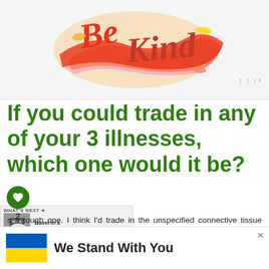[Figure (illustration): Colorful decorative text illustration reading 'Be Kind' in swirling red, pink, and orange script lettering on white background]
If you could trade in any of your 3 illnesses, which one would it be?
s a tough one. I think I'd trade in the unspecified connective tissue disease. The pain f... its is no b...
[Figure (infographic): Advertisement banner: Ukraine flag (blue and yellow) with text 'We Stand With You']